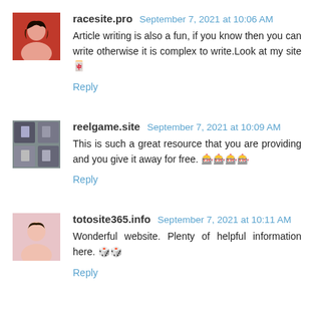racesite.pro  September 7, 2021 at 10:06 AM
Article writing is also a fun, if you know then you can write otherwise it is complex to write.Look at my site 🀄
Reply
reelgame.site  September 7, 2021 at 10:09 AM
This is such a great resource that you are providing and you give it away for free. 🎰🎰🎰🎰
Reply
totosite365.info  September 7, 2021 at 10:11 AM
Wonderful website. Plenty of helpful information here. 🎲🎲
Reply